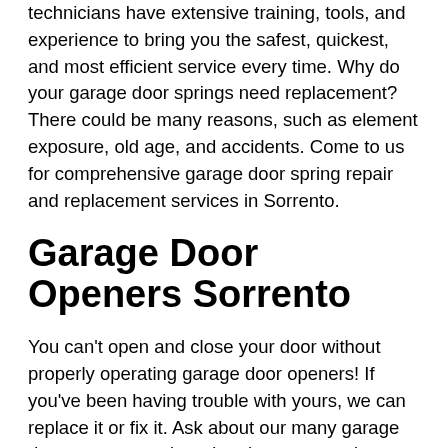technicians have extensive training, tools, and experience to bring you the safest, quickest, and most efficient service every time. Why do your garage door springs need replacement? There could be many reasons, such as element exposure, old age, and accidents. Come to us for comprehensive garage door spring repair and replacement services in Sorrento.
Garage Door Openers Sorrento
You can't open and close your door without properly operating garage door openers! If you've been having trouble with yours, we can replace it or fix it. Ask about our many garage door opener repair and replacement options, made possible through partnerships with top garage door opener manufacturers like LiftMaster and Genie.
Garage Door Maintenance